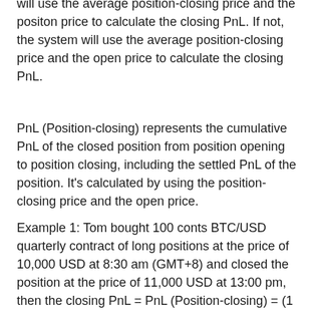will use the average position-closing price and the positon price to calculate the closing PnL. If not, the system will use the average position-closing price and the open price to calculate the closing PnL.
PnL (Position-closing) represents the cumulative PnL of the closed position from position opening to position closing, including the settled PnL of the position. It's calculated by using the position-closing price and the open price.
Example 1: Tom bought 100 conts BTC/USD quarterly contract of long positions at the price of 10,000 USD at 8:30 am (GMT+8) and closed the position at the price of 11,000 USD at 13:00 pm, then the closing PnL = PnL (Position-closing) = (1 / 10,000 – 1 / 11,000) * 100 * 100 = 0.0909 BTC;
Example 2: Tom bought 100 conts BTC/USD quarterly contract of long positions at the price of 10,000 USD at 8:30 am (GMT+8) and closed this position at the price of 13,000...